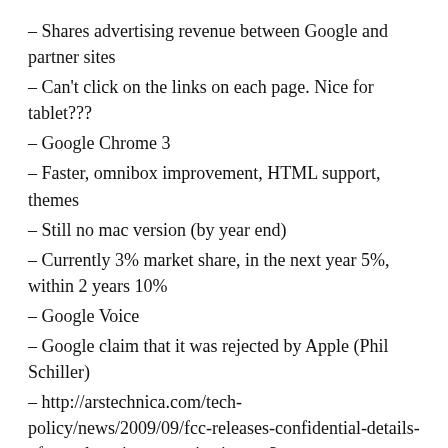– Shares advertising revenue between Google and partner sites
– Can't click on the links on each page. Nice for tablet???
– Google Chrome 3
– Faster, omnibox improvement, HTML support, themes
– Still no mac version (by year end)
– Currently 3% market share, in the next year 5%, within 2 years 10%
– Google Voice
– Google claim that it was rejected by Apple (Phil Schiller)
– http://arstechnica.com/tech-policy/news/2009/09/fcc-releases-confidential-details-of-google-voice-app-rejection.ars?utm_source=rss&utm_medium=rss&utm_campaign=rss
– This is going to get messy